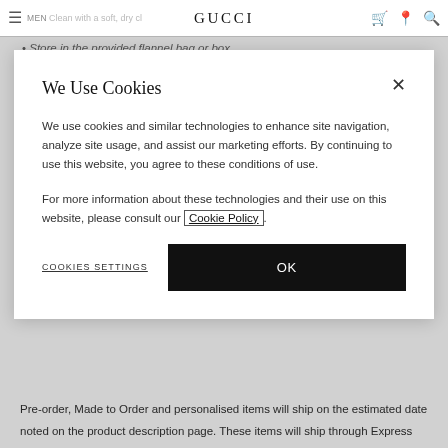GUCCI
Store in the provided flannel bag or box
We Use Cookies
We use cookies and similar technologies to enhance site navigation, analyze site usage, and assist our marketing efforts. By continuing to use this website, you agree to these conditions of use.
For more information about these technologies and their use on this website, please consult our Cookie Policy.
COOKIES SETTINGS
OK
| Free | 1-2 business days |
Pre-order, Made to Order and personalised items will ship on the estimated date noted on the product description page. These items will ship through Express once they become available. You will be notified when orders are shipped.